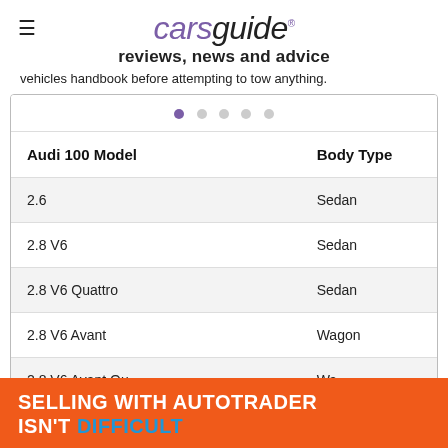carsguide reviews, news and advice
vehicles handbook before attempting to tow anything.
| Audi 100 Model | Body Type |
| --- | --- |
| 2.6 | Sedan |
| 2.8 V6 | Sedan |
| 2.8 V6 Quattro | Sedan |
| 2.8 V6 Avant | Wagon |
| 2.8 V6 Avant Quattro | Wagon |
[Figure (other): Orange advertisement banner: SELLING WITH AUTOTRADER ISN'T DIFFICULT]